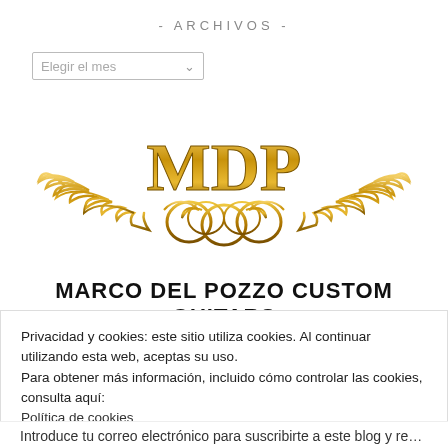- ARCHIVOS -
Elegir el mes
[Figure (logo): MDP Marco Del Pozzo Custom Guitars gold ornamental logo with wings and decorative flourishes]
MARCO DEL POZZO CUSTOM GUITARS
Privacidad y cookies: este sitio utiliza cookies. Al continuar utilizando esta web, aceptas su uso.
Para obtener más información, incluido cómo controlar las cookies, consulta aquí:
Política de cookies
Cerrar y aceptar
Introduce tu correo electrónico para suscribirte a este blog y recibir